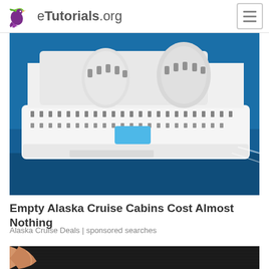eTutorials.org
[Figure (photo): Aerial view of a large cruise ship on blue ocean water, showing multiple decks, pools, and rounded architectural towers]
Empty Alaska Cruise Cabins Cost Almost Nothing
Alaska Cruise Deals | sponsored searches
[Figure (photo): Close-up of fingers touching or holding a dark textured material, partially visible at bottom of page]